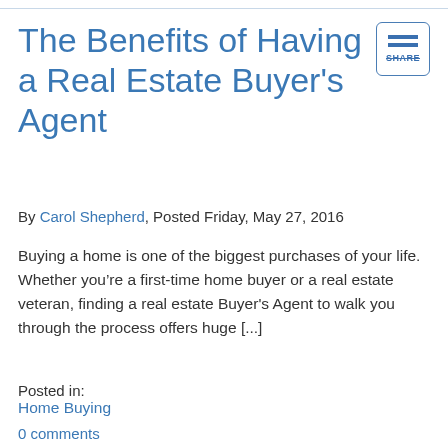The Benefits of Having a Real Estate Buyer's Agent
By Carol Shepherd, Posted Friday, May 27, 2016
Buying a home is one of the biggest purchases of your life. Whether you’re a first-time home buyer or a real estate veteran, finding a real estate Buyer's Agent to walk you through the process offers huge [...]
Posted in:
Home Buying
0 comments
Home Buying 101: How to